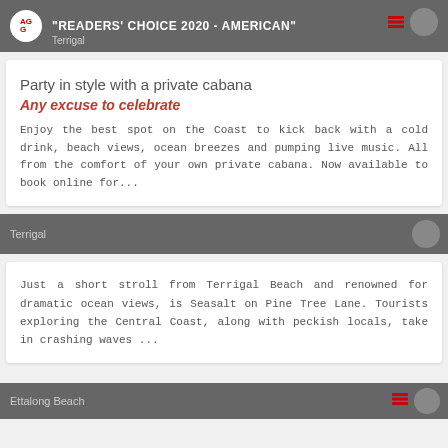"READERS' CHOICE 2020 - AMERICAN" Terrigal
Party in style with a private cabana
Any excuse to celebrate
Enjoy the best spot on the Coast to kick back with a cold drink, beach views, ocean breezes and pumping live music. All from the comfort of your own private cabana. Now available to book online for...
Terrigal
Just a short stroll from Terrigal Beach and renowned for dramatic ocean views, is Seasalt on Pine Tree Lane. Tourists exploring the Central Coast, along with peckish locals, take in crashing waves ...
Ettalong Beach